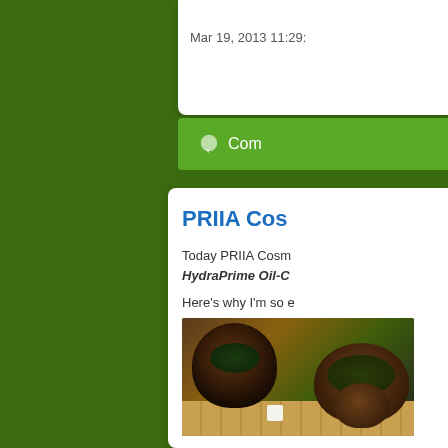Mar 19, 2013 11:29:
Com
PRIIA Cos
Today PRIIA Cosm HydraPrime Oil-C
Here's why I'm so e
[Figure (photo): Wooden bowls with tea leaves, herbs, and liquid tea on a bamboo mat background]
beneficial ingredien powder.  It also wo creasing. Simply a top and you've got.